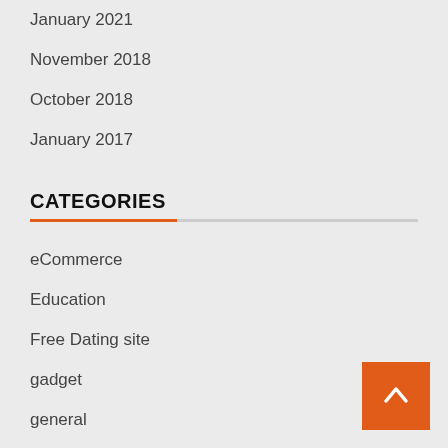January 2021
November 2018
October 2018
January 2017
CATEGORIES
eCommerce
Education
Free Dating site
gadget
general
Government Jobs